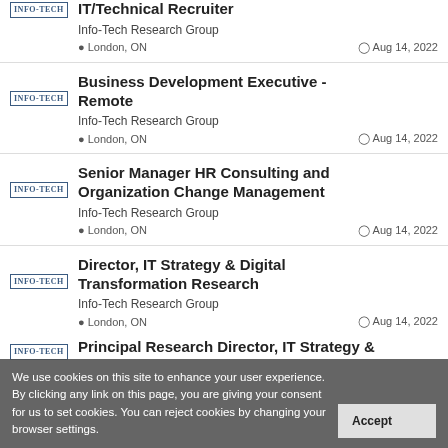IT/Technical Recruiter – Info-Tech Research Group – London, ON – Aug 14, 2022
Business Development Executive - Remote – Info-Tech Research Group – London, ON – Aug 14, 2022
Senior Manager HR Consulting and Organization Change Management – Info-Tech Research Group – London, ON – Aug 14, 2022
Director, IT Strategy & Digital Transformation Research – Info-Tech Research Group – London, ON – Aug 14, 2022
Principal Research Director, IT Strategy &
We use cookies on this site to enhance your user experience. By clicking any link on this page, you are giving your consent for us to set cookies. You can reject cookies by changing your browser settings.